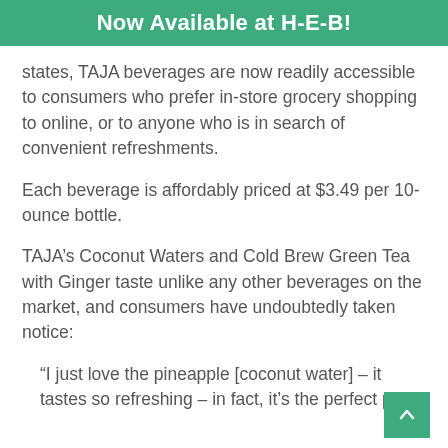Now Available at H-E-B!
states, TAJA beverages are now readily accessible to consumers who prefer in-store grocery shopping to online, or to anyone who is in search of convenient refreshments.
Each beverage is affordably priced at $3.49 per 10-ounce bottle.
TAJA’s Coconut Waters and Cold Brew Green Tea with Ginger taste unlike any other beverages on the market, and consumers have undoubtedly taken notice:
“I just love the pineapple [coconut water] – it tastes so refreshing – in fact, it’s the perfect pair.”